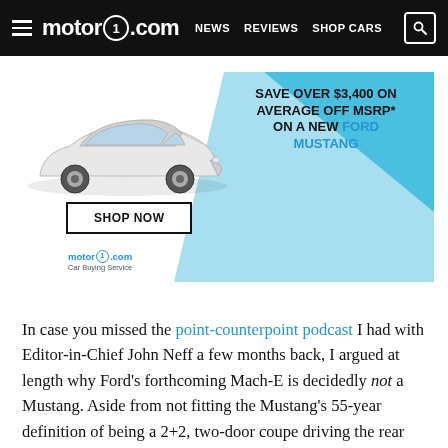motor1.com | NEWS REVIEWS SHOP CARS
[Figure (infographic): Advertisement banner: white Ford Mustang car on light blue background. Text reads 'SAVE OVER $3,400 ON AVERAGE OFF MSRP* ON A NEW FORD MUSTANG'. Button reads 'SHOP NOW'. Motor1.com Car Buying Service logo at bottom left.]
In case you missed the point-counterpoint podcast I had with Editor-in-Chief John Neff a few months back, I argued at length why Ford's forthcoming Mach-E is decidedly not a Mustang. Aside from not fitting the Mustang's 55-year definition of being a 2+2, two-door coupe driving the rear wheels, I highlighted how Ford's